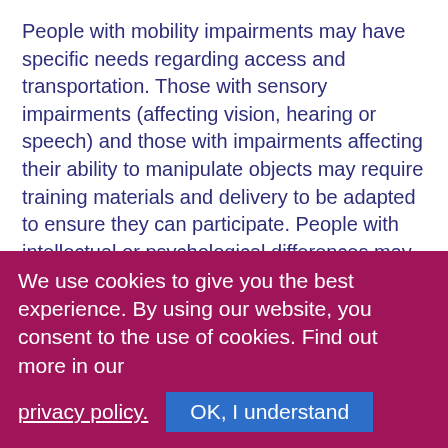People with mobility impairments may have specific needs regarding access and transportation. Those with sensory impairments (affecting vision, hearing or speech) and those with impairments affecting their ability to manipulate objects may require training materials and delivery to be adapted to ensure they can participate. People with intellectual or psychological differences may require specific training techniques or supportive environments.
One important benefit of an inclusive approach to training delivery is that it challenges trainers to understand the training needs of all their students and to deliver information and learning experiences in multiple ways.
We use cookies to give you the best experience. By using our website, you consent to the use of cookies. Find out more in our privacy policy. OK, I understand